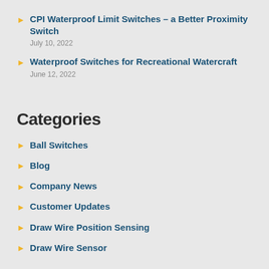CPI Waterproof Limit Switches – a Better Proximity Switch
July 10, 2022
Waterproof Switches for Recreational Watercraft
June 12, 2022
Categories
Ball Switches
Blog
Company News
Customer Updates
Draw Wire Position Sensing
Draw Wire Sensor